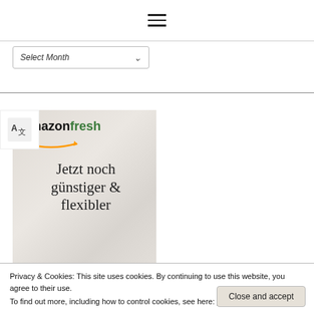≡ (hamburger menu icon)
Select Month
[Figure (screenshot): Amazon Fresh advertisement banner showing 'amazonfresh' logo with text 'Jetzt noch günstiger & flexibler' (Now even cheaper & more flexible) in serif font on a gray marble-like background]
Privacy & Cookies: This site uses cookies. By continuing to use this website, you agree to their use. To find out more, including how to control cookies, see here: Cookie Policy
Close and accept